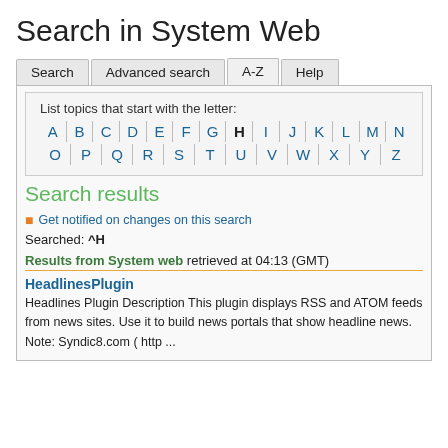Search in System Web
Tabs: Search | Advanced search | A-Z | Help
List topics that start with the letter: A B C D E F G H I J K L M N O P Q R S T U V W X Y Z
Search results
Get notified on changes on this search
Searched: ^H
Results from System web retrieved at 04:13 (GMT)
HeadlinesPlugin
Headlines Plugin Description This plugin displays RSS and ATOM feeds from news sites. Use it to build news portals that show headline news. Note: Syndic8.com ( http ...